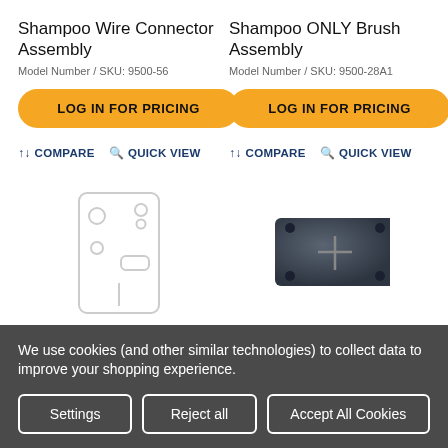Shampoo Wire Connector Assembly
Model Number / SKU: 9500-56
LOG IN FOR PRICING
↑↓ COMPARE   🔍 QUICK VIEW
Shampoo ONLY Brush Assembly
Model Number / SKU: 9500-28A1
LOG IN FOR PRICING
↑↓ COMPARE   🔍 QUICK VIEW
[Figure (illustration): Line drawing of a wire connector assembly, rectangular with circular connectors]
[Figure (photo): Photo of a brush assembly, dark grey/blue colored hardware component]
We use cookies (and other similar technologies) to collect data to improve your shopping experience.
Settings | Reject all | Accept All Cookies